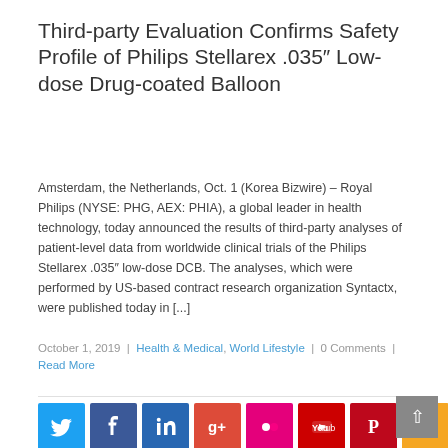Third-party Evaluation Confirms Safety Profile of Philips Stellarex .035″ Low-dose Drug-coated Balloon
Amsterdam, the Netherlands, Oct. 1 (Korea Bizwire) – Royal Philips (NYSE: PHG, AEX: PHIA), a global leader in health technology, today announced the results of third-party analyses of patient-level data from worldwide clinical trials of the Philips Stellarex .035″ low-dose DCB. The analyses, which were performed by US-based contract research organization Syntactx, were published today in [...]
October 1, 2019 | Health & Medical, World Lifestyle | 0 Comments | Read More
[Figure (infographic): Row of social media share buttons: Twitter (blue), Facebook (dark blue), LinkedIn (teal/dark blue), Google+ (red-orange), Flickr (pink/magenta), YouTube (red), Pinterest (red), RSS (orange)]